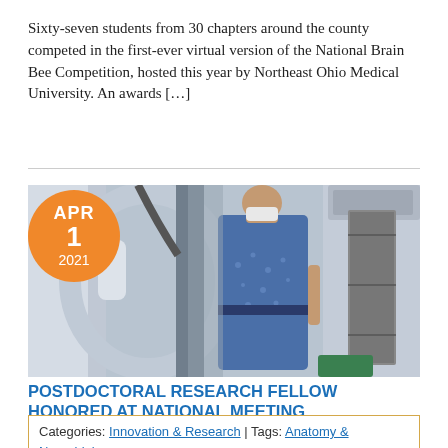Sixty-seven students from 30 chapters around the county competed in the first-ever virtual version of the National Brain Bee Competition, hosted this year by Northeast Ohio Medical University.  An awards […]
[Figure (photo): A person wearing a mask and blue patterned gown standing in a medical/research lab environment with large white equipment and panels.]
POSTDOCTORAL RESEARCH FELLOW HONORED AT NATIONAL MEETING
Categories: Innovation & Research | Tags: Anatomy & Neurobiology